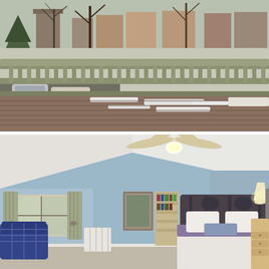[Figure (photo): Outdoor deck/balcony with olive-green painted wood railing, snow-dusted deck boards, and a residential neighborhood street scene in the background with bare winter trees and brick row houses.]
[Figure (photo): Interior bedroom with sloped/vaulted ceiling, light blue walls, ceiling fan with light kit, large bed with iron headboard and purple/lavender bedding, plaid armchair near window with curtains, white radiator, dresser with lamp, and bookshelf.]